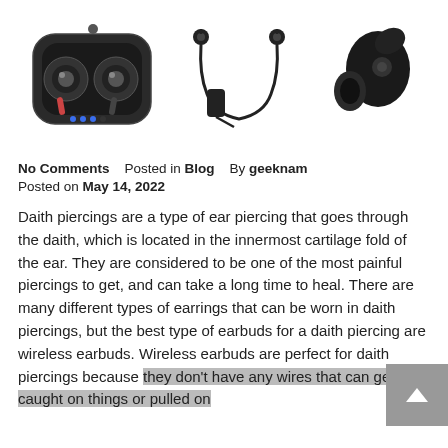[Figure (photo): Three wireless earbuds/earphone products shown side by side: left is TWS earbuds in a charging case, center is neckband-style wireless earphones, right is a single true wireless earbud.]
No Comments    Posted in Blog    By geeknam
Posted on May 14, 2022
Daith piercings are a type of ear piercing that goes through the daith, which is located in the innermost cartilage fold of the ear. They are considered to be one of the most painful piercings to get, and can take a long time to heal. There are many different types of earrings that can be worn in daith piercings, but the best type of earbuds for a daith piercing are wireless earbuds. Wireless earbuds are perfect for daith piercings because they don't have any wires that can get caught on things or pulled on